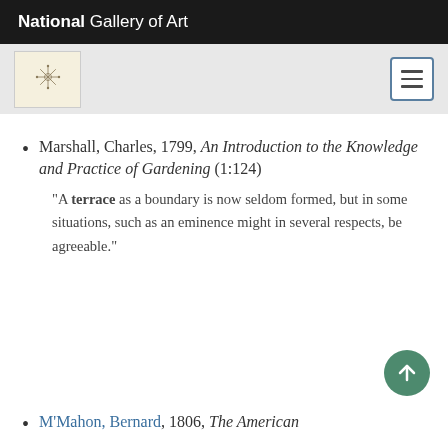National Gallery of Art
[Figure (logo): National Gallery of Art logo — small sunburst/star symbol on aged paper background]
Marshall, Charles, 1799, An Introduction to the Knowledge and Practice of Gardening (1:124)
"A terrace as a boundary is now seldom formed, but in some situations, such as an eminence might in several respects, be agreeable."
M'Mahon, Bernard, 1806, The American